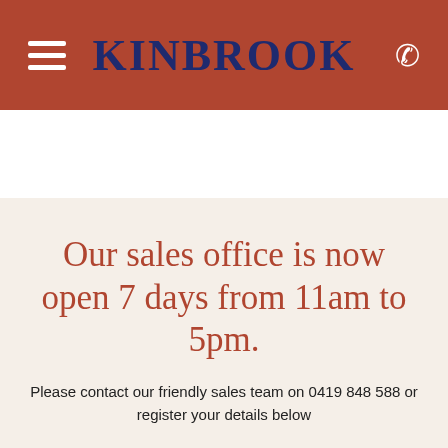KINBROOK
Our sales office is now open 7 days from 11am to 5pm.
Please contact our friendly sales team on 0419 848 588 or register your details below
REGISTER NOW